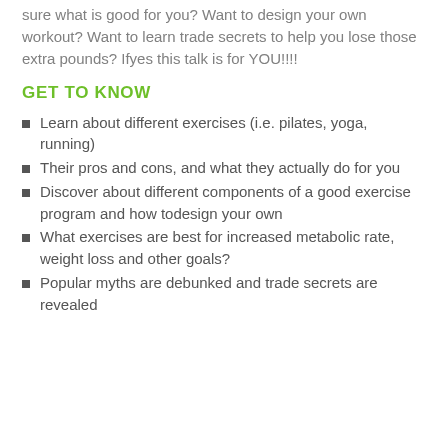sure what is good for you? Want to design your own workout? Want to learn trade secrets to help you lose those extra pounds? Ifyes this talk is for YOU!!!!
GET TO KNOW
Learn about different exercises (i.e. pilates, yoga, running)
Their pros and cons, and what they actually do for you
Discover about different components of a good exercise program and how todesign your own
What exercises are best for increased metabolic rate, weight loss and other goals?
Popular myths are debunked and trade secrets are revealed